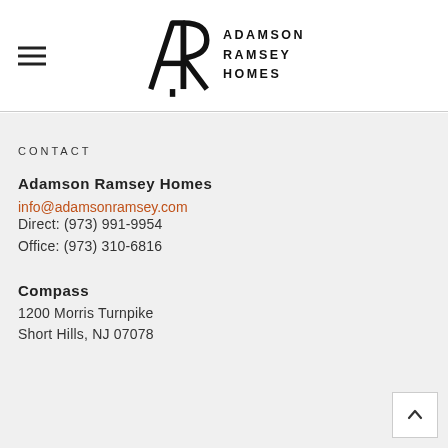[Figure (logo): Adamson Ramsey Homes logo with AR monogram and text 'ADAMSON RAMSEY HOMES']
CONTACT
Adamson Ramsey Homes
info@adamsonramsey.com
Direct: (973) 991-9954
Office: (973) 310-6816
Compass
1200 Morris Turnpike
Short Hills, NJ 07078